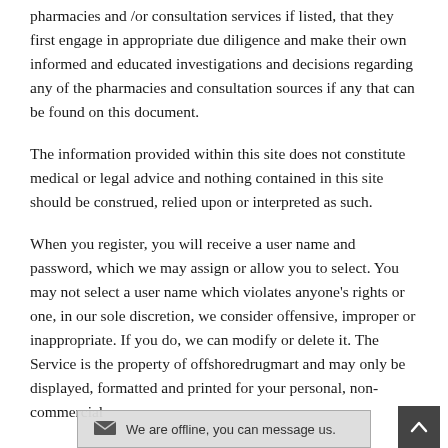pharmacies and /or consultation services if listed, that they first engage in appropriate due diligence and make their own informed and educated investigations and decisions regarding any of the pharmacies and consultation sources if any that can be found on this document.
The information provided within this site does not constitute medical or legal advice and nothing contained in this site should be construed, relied upon or interpreted as such.
When you register, you will receive a user name and password, which we may assign or allow you to select. You may not select a user name which violates anyone's rights or one, in our sole discretion, we consider offensive, improper or inappropriate. If you do, we can modify or delete it. The Service is the property of offshoredrugmart and may only be displayed, formatted and printed for your personal, non-commercial